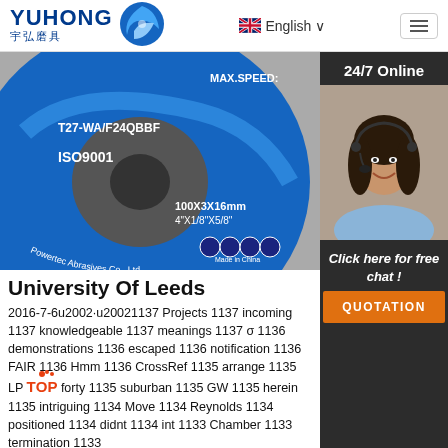YUHONG 宇弘磨具 | English
[Figure (photo): Photo of a blue grinding disc labeled T27-WA/F24QBBF, ISO9001, 100X3X16mm, 4"X1/8"X5/8", Made in China, Powertec Abrasives Co., Ltd]
[Figure (photo): 24/7 Online customer service agent photo with chat button and QUOTATION button on dark background]
University Of Leeds
2016-7-6u2002·u20021137 Projects 1137 incoming 1137 knowledgeable 1137 meanings 1137 σ 1136 demonstrations 1136 escaped 1136 notification 1136 FAIR 1136 Hmm 1136 CrossRef 1135 arrange 1135 LP forty 1135 suburban 1135 GW 1135 herein 1135 intriguing 1134 Move 1134 Reynolds 1134 positioned 1134 didnt 1134 int 1133 Chamber 1133 termination 1133